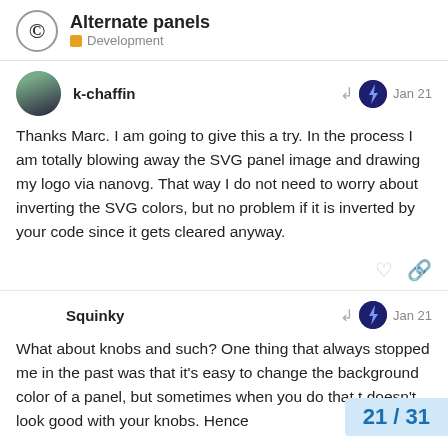Alternate panels — Development
k-chaffin — Jan 21
Thanks Marc. I am going to give this a try. In the process I am totally blowing away the SVG panel image and drawing my logo via nanovg. That way I do not need to worry about inverting the SVG colors, but no problem if it is inverted by your code since it gets cleared anyway.
Squinky — Jan 21
What about knobs and such? One thing that always stopped me in the past was that it's easy to change the background color of a panel, but sometimes when you do that t doesn't look good with your knobs. Hence